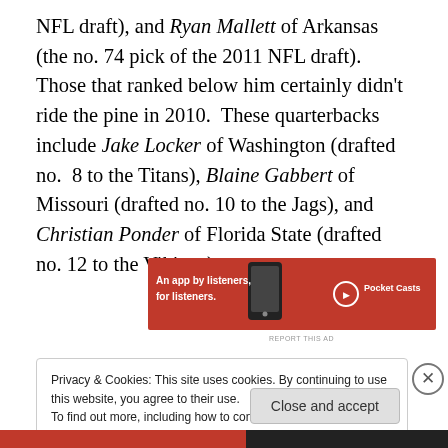NFL draft), and Ryan Mallett of Arkansas (the no. 74 pick of the 2011 NFL draft).  Those that ranked below him certainly didn't ride the pine in 2010.  These quarterbacks include Jake Locker of Washington (drafted no.  8 to the Titans), Blaine Gabbert of Missouri (drafted no. 10 to the Jags), and Christian Ponder of Florida State (drafted no. 12 to the Vikings).
[Figure (other): Pocket Casts advertisement banner: red background with phone image, text 'An app by listeners, for listeners.' and Pocket Casts logo]
Privacy & Cookies: This site uses cookies. By continuing to use this website, you agree to their use.
To find out more, including how to control cookies, see here: Cookie Policy
Close and accept